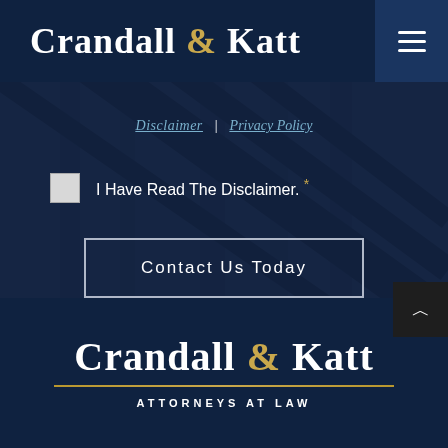Crandall & Katt
Disclaimer | Privacy Policy
I Have Read The Disclaimer. *
Contact Us Today
Crandall & Katt
ATTORNEYS AT LAW